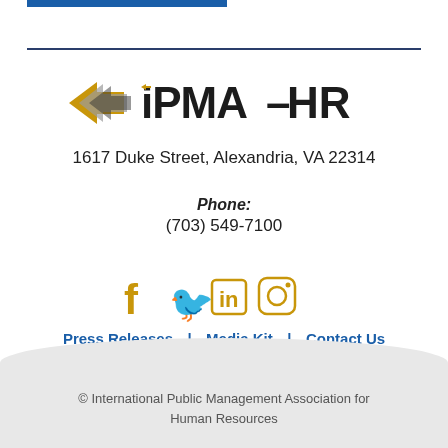[Figure (logo): IPMA-HR logo with arrow graphic and blue/yellow/dark color scheme]
1617 Duke Street, Alexandria, VA 22314
Phone:
(703) 549-7100
[Figure (infographic): Social media icons: Facebook, Twitter, LinkedIn, Instagram in gold/amber color]
Press Releases | Media Kit | Contact Us
Privacy Policy | Site Map
© International Public Management Association for Human Resources